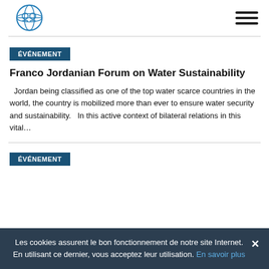[Logo + hamburger menu]
ÉVÉNEMENT
Franco Jordanian Forum on Water Sustainability
Jordan being classified as one of the top water scarce countries in the world, the country is mobilized more than ever to ensure water security and sustainability.   In this active context of bilateral relations in this vital…
ÉVÉNEMENT
Les cookies assurent le bon fonctionnement de notre site Internet. En utilisant ce dernier, vous acceptez leur utilisation. En savoir plus